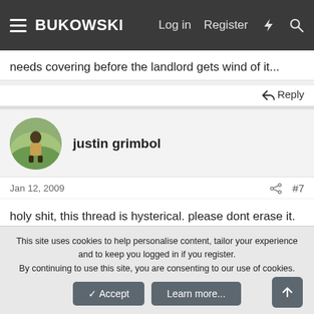BUKOWSKI | Log in | Register
needs covering before the landlord gets wind of it...
Reply
justin grimbol
Jan 12, 2009  #7
holy shit, this thread is hysterical. please dont erase it. anyway.
tony o. good poet. burning shore is pumping out some solid writers.
Reply
This site uses cookies to help personalise content, tailor your experience and to keep you logged in if you register.
By continuing to use this site, you are consenting to our use of cookies.